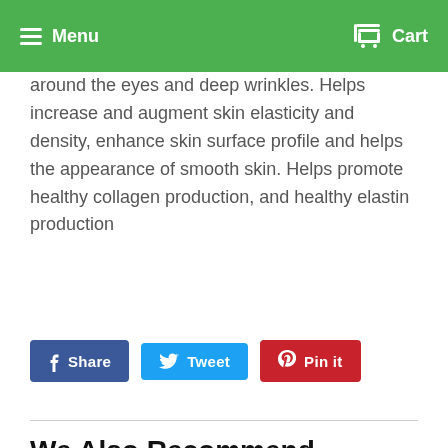Menu  Cart
around the eyes and deep wrinkles. Helps increase and augment skin elasticity and density, enhance skin surface profile and helps the appearance of smooth skin. Helps promote healthy collagen production, and healthy elastin production
Share  Tweet  Pin it
We Also Recommend